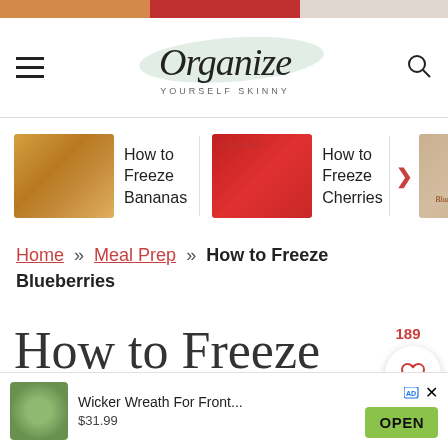Organize Yourself Skinny
[Figure (screenshot): Carousel of related articles: How to Freeze Bananas, How to Freeze Cherries, Blueberry Banana Muffins]
Home » Meal Prep » How to Freeze Blueberries
How to Freeze Blueberries
Published ... 7, 2019
[Figure (screenshot): Ad overlay: Wicker Wreath For Front... $31.99 OPEN]